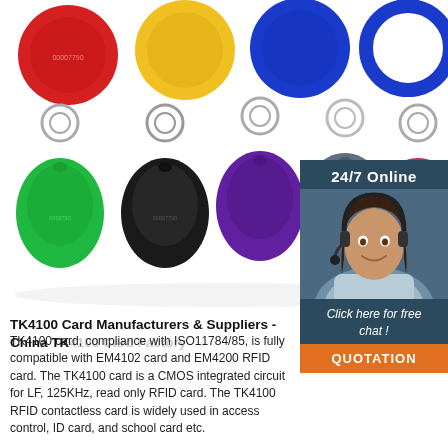[Figure (photo): Product photo of colorful RFID TK4100 keyfob tags in multiple colors (red, yellow, blue, blue ring, green, black, purple, gray, pink) with key rings, arranged on white background]
[Figure (photo): Sidebar overlay on dark teal background with '24/7 Online' text, customer service agent photo (woman with headset smiling), 'Click here for free chat!' text, and orange QUOTATION button]
TK4100 Card Manufacturers & Suppliers - China TK4100 Card Factory
TK4100 card, compliance with ISO11784/85, is fully compatible with EM4102 card and EM4200 RFID card. The TK4100 card is a CMOS integrated circuit for LF, 125KHz, read only RFID card. The TK4100 RFID contactless card is widely used in access control, ID card, and school card etc.